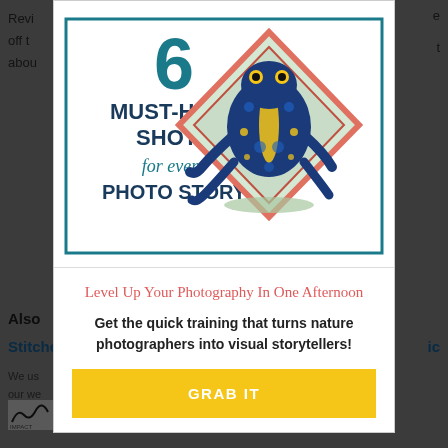[Figure (screenshot): Background webpage partially visible behind modal overlay, showing article text, navigation, and footer elements in a darkened/blurred state]
[Figure (illustration): Book/guide cover illustration: large number 6 in teal at top, text 'MUST-HAVE SHOTS' in bold dark blue, 'for every' in italic teal script, 'PHOTO STORY' in bold dark blue, with a colorful poison dart frog (blue, yellow, black) inside a diamond-shaped frame with salmon/pink border, on white background with teal border]
Level Up Your Photography In One Afternoon
Get the quick training that turns nature photographers into visual storytellers!
GRAB IT